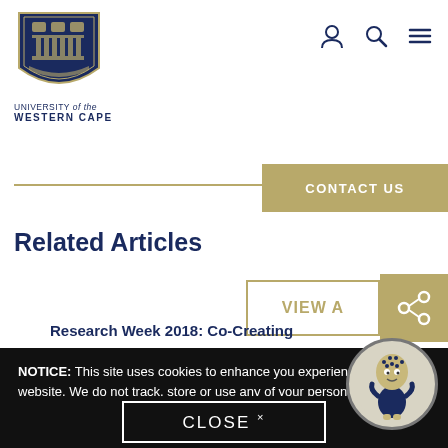[Figure (logo): University of the Western Cape crest/shield logo in dark blue and gold]
UNIVERSITY of the WESTERN CAPE
[Figure (other): Navigation icons: person/account icon, search icon, hamburger menu icon]
[Figure (other): CONTACT US button in gold/tan color]
Related Articles
[Figure (other): VIEW ALL button with share icon overlay]
Research Week 2018: Co-Creating
NOTICE: This site uses cookies to enhance you experience on our website. We do not track, store or use any of your personal information without your explicit permission. To find out more, read our Policy, which incorporates the Cookie Policy.
[Figure (illustration): UWC mascot character - stylized figure with spotted head wearing blue outfit, shown in a circular frame]
CLOSE ×